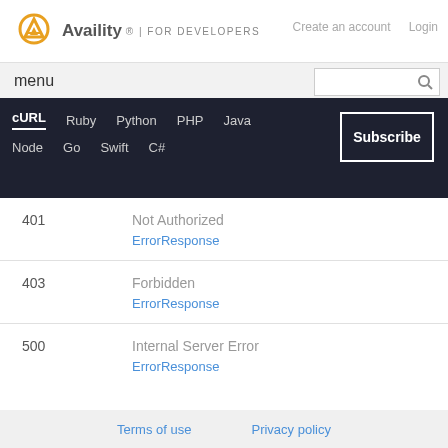Availity | FOR DEVELOPERS
Create an account   Login
menu
cURL  Ruby  Python  PHP  Java  Node  Go  Swift  C#  Subscribe
| Code | Description |
| --- | --- |
| 401 | Not Authorized
ErrorResponse |
| 403 | Forbidden
ErrorResponse |
| 500 | Internal Server Error
ErrorResponse |
Terms of use   Privacy policy